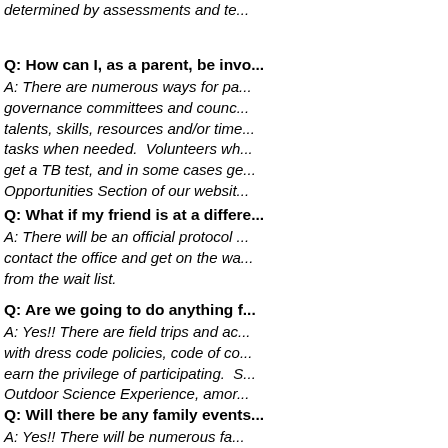determined by assessments and te...
Q: How can I, as a parent, be invo...
A: There are numerous ways for pa... governance committees and counc... talents, skills, resources and/or time... tasks when needed. Volunteers wh... get a TB test, and in some cases ge... Opportunities Section of our websit...
Q: What if my friend is at a differe...
A: There will be an official protocol ... contact the office and get on the wa... from the wait list.
Q: Are we going to do anything f...
A: Yes!! There are field trips and ac... with dress code policies, code of co... earn the privilege of participating. S... Outdoor Science Experience, amor...
Q: Will there be any family events...
A: Yes!! There will be numerous fa...